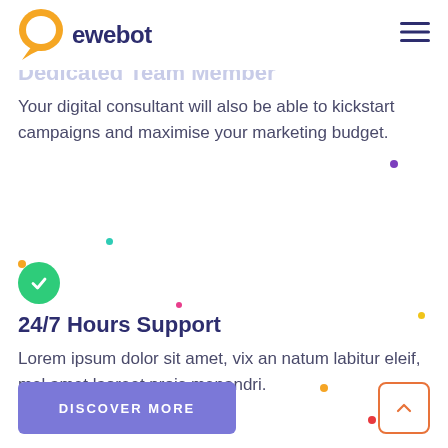ewebot
Dedicated Team Member
Your digital consultant will also be able to kickstart campaigns and maximise your marketing budget.
[Figure (illustration): Green circle with white checkmark icon]
24/7 Hours Support
Lorem ipsum dolor sit amet, vix an natum labitur eleif, mel amet laoreet prois menandri.
DISCOVER MORE